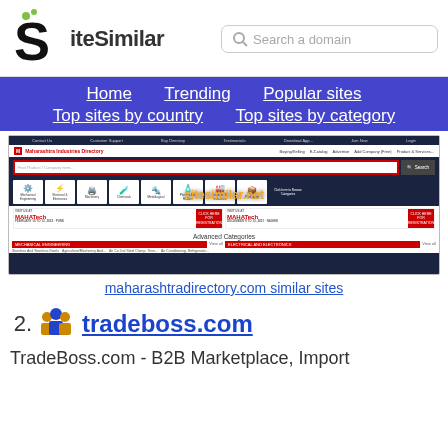SiteSimilar - Search a domain
Home | Trending | Popular sites | Top sites by country | Top sites by category
[Figure (screenshot): Screenshot of maharashtradirectory.com showing a B2B trade directory with search, category icons, banners for MAHATech event, and Advanced Categories section]
maharashtradirectory.com similar sites
22. tradeboss.com
TradeBoss.com - B2B Marketplace, Import